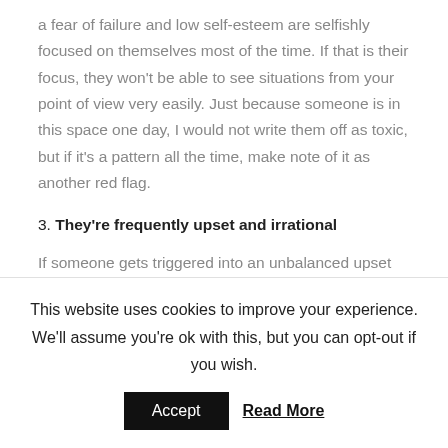a fear of failure and low self-esteem are selfishly focused on themselves most of the time. If that is their focus, they won't be able to see situations from your point of view very easily. Just because someone is in this space one day, I would not write them off as toxic, but if it's a pattern all the time, make note of it as another red flag.
3. They're frequently upset and irrational
If someone gets triggered into an unbalanced upset
This website uses cookies to improve your experience. We'll assume you're ok with this, but you can opt-out if you wish.